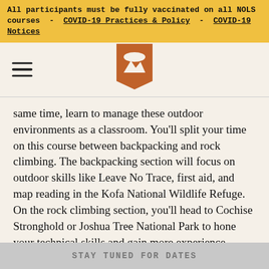All participants must be fully vaccinated on all NOLS courses - COVID-19 Practices & Policy - COVID-19 Notices
[Figure (logo): NOLS logo: orange pennant/banner shape with mountain and moon icon, text NOLS below]
same time, learn to manage these outdoor environments as a classroom. You'll split your time on this course between backpacking and rock climbing. The backpacking section will focus on outdoor skills like Leave No Trace, first aid, and map reading in the Kofa National Wildlife Refuge. On the rock climbing section, you'll head to Cochise Stronghold or Joshua Tree National Park to hone your technical skills and gain more experience teaching and in risk management.
STAY TUNED FOR DATES